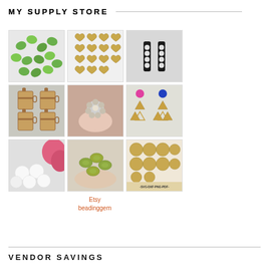MY SUPPLY STORE
[Figure (photo): Green glass leaf/petal beads scattered]
[Figure (photo): Gold heart-shaped charms arranged in a grid]
[Figure (photo): Black bar connectors with rhinestones]
[Figure (photo): Wooden laser-cut coffee cup charms]
[Figure (photo): Hand holding a small flower rhinestone bead]
[Figure (photo): Gold triangle and geometric earring components with pink and blue dots]
[Figure (photo): White round beads with pink flower in background]
[Figure (photo): Hand holding green/yellow oval cabochons]
[Figure (photo): Halloween collection SVG DXF PNG PDF digital cut files]
Etsy
beadinggem
VENDOR SAVINGS